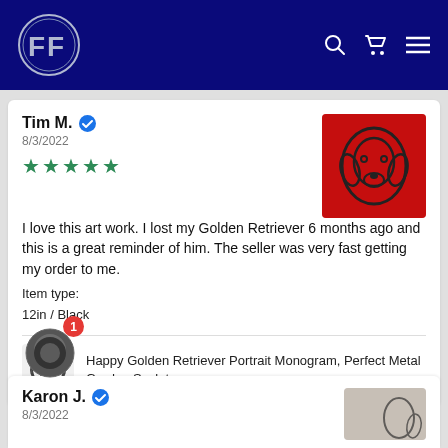FF logo navigation bar with search, cart, and menu icons
Tim M. ✓
8/3/2022
★★★★★
I love this art work. I lost my Golden Retriever 6 months ago and this is a great reminder of him. The seller was very fast getting my order to me.
Item type:
12in / Black
[Figure (photo): Metal art silhouette of a Golden Retriever head against a red background]
Happy Golden Retriever Portrait Monogram, Perfect Metal Garden Sculpture
[Figure (illustration): Small thumbnail of Golden Retriever metal portrait product]
[Figure (other): Chat bubble icon with notification badge showing number 1]
Karon J. ✓
8/3/2022